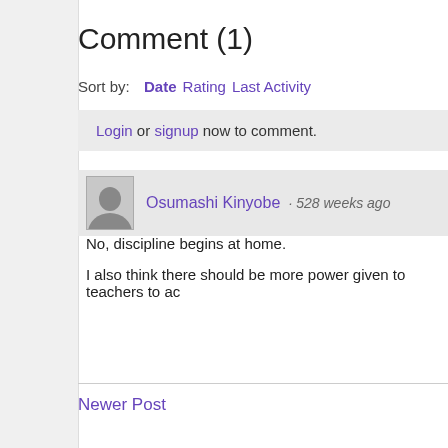Comment (1)
Sort by:  Date  Rating  Last Activity
Login or signup now to comment.
Osumashi Kinyobe · 528 weeks ago
No, discipline begins at home.
I also think there should be more power given to teachers to ac
Reply
Newer Post